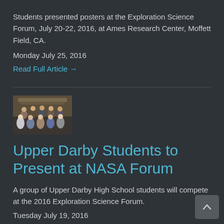Students presented posters at the Exploration Science Forum, July 20-22, 2016, at Ames Research Center, Moffett Field, CA.
Monday July 25, 2016
Read Full Article →
[Figure (photo): Group photo of students]
Upper Darby Students to Present at NASA Forum
A group of Upper Darby High School students will compete at the 2016 Exploration Science Forum.
Tuesday July 19, 2016